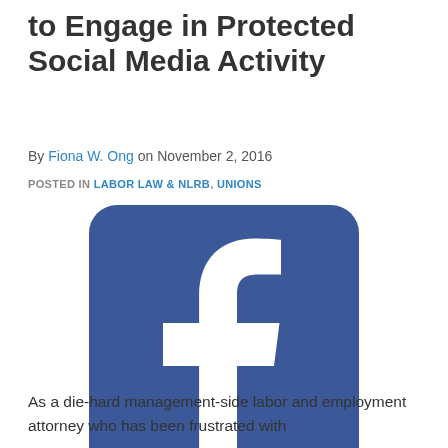to Engage in Protected Social Media Activity
By Fiona W. Ong on November 2, 2016
POSTED IN LABOR LAW & NLRB, UNIONS
[Figure (logo): Facebook logo — blue rounded square with white 'f' lettermark]
As a die-hard management-side labor and employment attorney who has been frustrated with